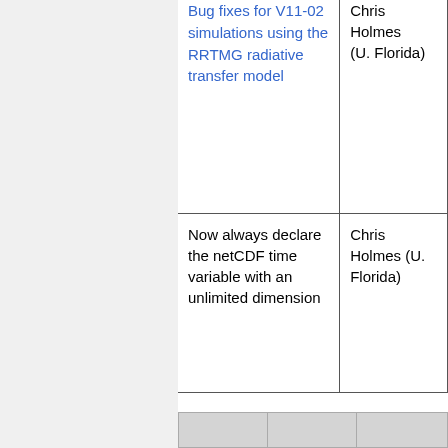| Description | Contact |
| --- | --- |
| Bug fixes for V11-02 simulations using the RRTMG radiative transfer model | Chris Holmes (U. Florida) |
| Now always declare the netCDF time variable with an unlimited dimension | Chris Holmes (U. Florida) |
New data directories in 12.0.0
The following data directories have been added or updated in this version. You will have to download the directories relevant to your simulation.
|  |  |  |
| --- | --- | --- |